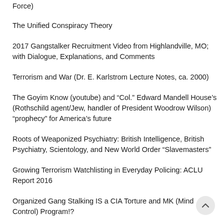Force)
The Unified Conspiracy Theory
2017 Gangstalker Recruitment Video from Highlandville, MO; with Dialogue, Explanations, and Comments
Terrorism and War (Dr. E. Karlstrom Lecture Notes, ca. 2000)
The Goyim Know (youtube) and “Col.” Edward Mandell House’s (Rothschild agent/Jew, handler of President Woodrow Wilson) “prophecy” for America’s future
Roots of Weaponized Psychiatry: British Intelligence, British Psychiatry, Scientology, and New World Order “Slavemasters”
Growing Terrorism Watchlisting in Everyday Policing: ACLU Report 2016
Organized Gang Stalking IS a CIA Torture and MK (Mind Control) Program!?